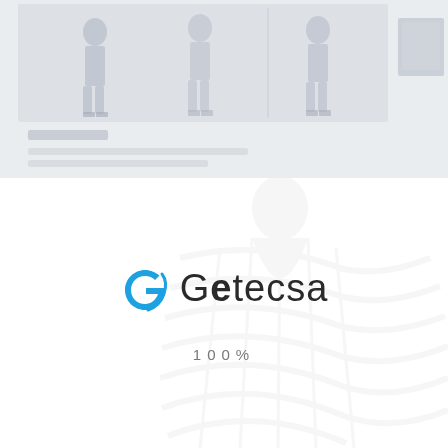[Figure (screenshot): Faded screenshot of a fashion/clothing app or website showing mannequin figures wearing pants/leggings, with a small thumbnail image in the top-right corner and some text below the figures.]
[Figure (logo): Getecsa company logo with a blue swirl 'G' icon and the word 'Getecsa' in dark gray text, followed by '100%' loading indicator below.]